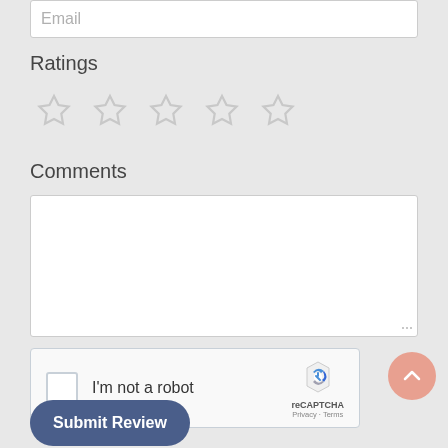[Figure (screenshot): Email input field (partially visible) at top]
Ratings
[Figure (other): Five empty star rating icons in a row]
Comments
[Figure (other): Empty textarea for comments]
[Figure (other): reCAPTCHA widget with checkbox and 'I'm not a robot' text]
[Figure (other): Submit Review button (dark blue, rounded)]
[Figure (other): Scroll-up button (pink circle with chevron)]